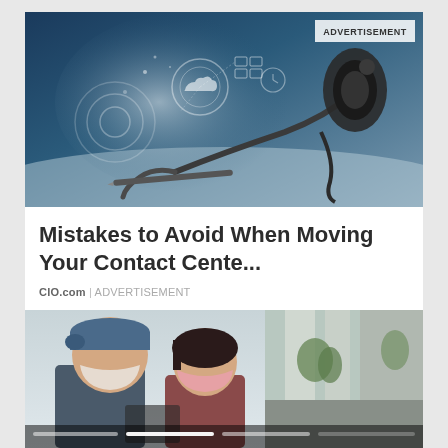[Figure (photo): A headset/telephone handset on a desk with a blue-tinted futuristic digital interface overlay showing cloud and connectivity icons. ADVERTISEMENT badge in top-right corner.]
Mistakes to Avoid When Moving Your Contact Cente...
CIO.com | ADVERTISEMENT
[Figure (photo): Two people wearing face masks outdoors on a narrow urban street in Japan, looking down at something. A progress/chapter bar is overlaid at the bottom of the image.]